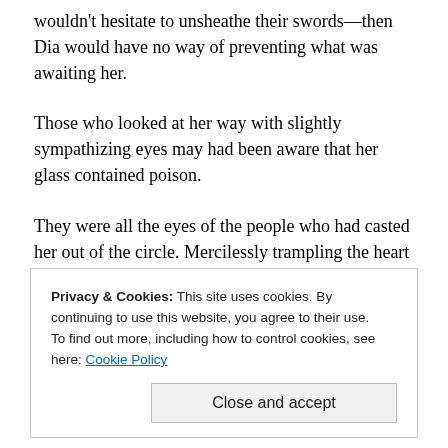wouldn't hesitate to unsheathe their swords—then Dia would have no way of preventing what was awaiting her.
Those who looked at her way with slightly sympathizing eyes may had been aware that her glass contained poison.
They were all the eyes of the people who had casted her out of the circle. Mercilessly trampling the heart of the last, lonely, Gillasfi, whom they claimed to be heretical in faith.
Privacy & Cookies: This site uses cookies. By continuing to use this website, you agree to their use. To find out more, including how to control cookies, see here: Cookie Policy
Close and accept